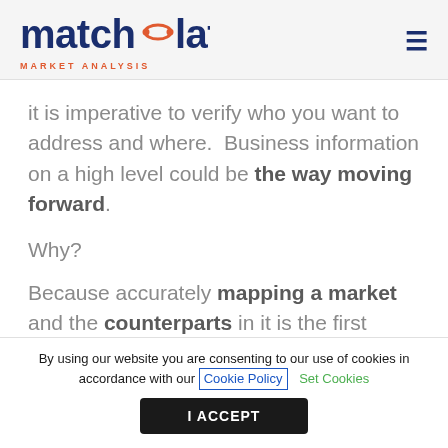[Figure (logo): Matchplat logo with dark blue text 'matchplat', orange connector icon between 't' and 'p', and 'MARKET ANALYSIS' subtitle in orange below]
it is imperative to verify who you want to address and where. Business information on a high level could be the way moving forward.
Why?
Because accurately mapping a market and the counterparts in it is the first
By using our website you are consenting to our use of cookies in accordance with our Cookie Policy Set Cookies
I ACCEPT